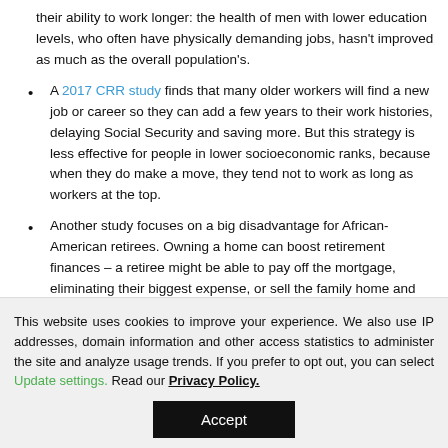their ability to work longer: the health of men with lower education levels, who often have physically demanding jobs, hasn't improved as much as the overall population's.
A 2017 CRR study finds that many older workers will find a new job or career so they can add a few years to their work histories, delaying Social Security and saving more. But this strategy is less effective for people in lower socioeconomic ranks, because when they do make a move, they tend not to work as long as workers at the top.
Another study focuses on a big disadvantage for African-American retirees. Owning a home can boost retirement finances – a retiree might be able to pay off the mortgage, eliminating their biggest expense, or sell the family home and move someplace cheaper. But African-Americans'
This website uses cookies to improve your experience. We also use IP addresses, domain information and other access statistics to administer the site and analyze usage trends. If you prefer to opt out, you can select Update settings. Read our Privacy Policy.
Accept